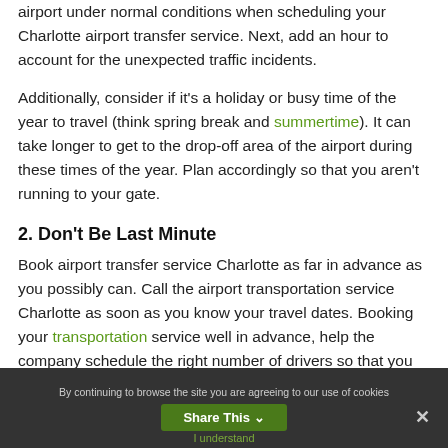airport under normal conditions when scheduling your Charlotte airport transfer service. Next, add an hour to account for the unexpected traffic incidents.
Additionally, consider if it's a holiday or busy time of the year to travel (think spring break and summertime). It can take longer to get to the drop-off area of the airport during these times of the year. Plan accordingly so that you aren't running to your gate.
2. Don't Be Last Minute
Book airport transfer service Charlotte as far in advance as you possibly can. Call the airport transportation service Charlotte as soon as you know your travel dates. Booking your transportation service well in advance, help the company schedule the right number of drivers so that you will be picked up
By continuing to browse the site you are agreeing to our use of cookies